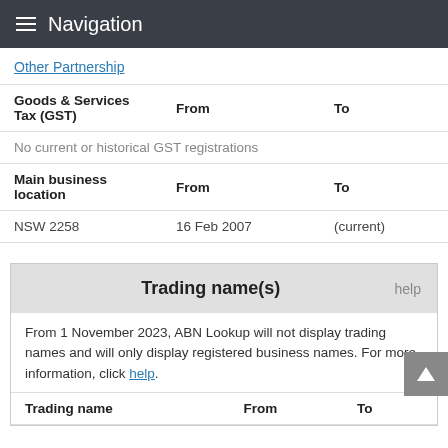Navigation
Other Partnership
| Goods & Services Tax (GST) | From | To |
| --- | --- | --- |
| No current or historical GST registrations |  |  |
| Main business location | From | To |
| --- | --- | --- |
| NSW 2258 | 16 Feb 2007 | (current) |
Trading name(s)
From 1 November 2023, ABN Lookup will not display trading names and will only display registered business names. For more information, click help.
| Trading name | From | To |
| --- | --- | --- |